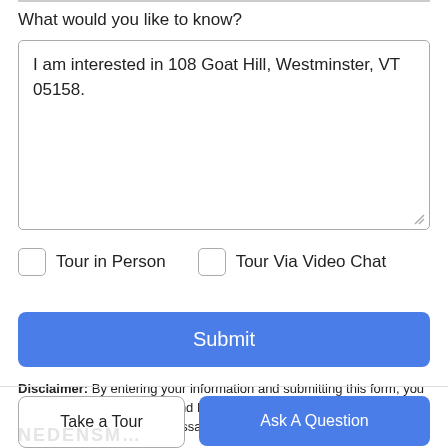What would you like to know?
I am interested in 108 Goat Hill, Westminster, VT 05158.
Tour in Person
Tour Via Video Chat
Submit
Disclaimer: By entering your information and submitting this form, you agree to our Terms of Use and Privacy Policy and that you may be contacted by phone, text message and email about your inquiry.
Take a Tour
Ask A Question